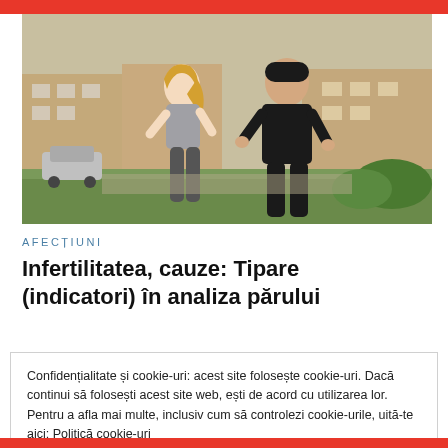[Figure (photo): A man and a woman jogging together outdoors in a park, with buildings in the background. The woman wears a grey sports top and leggings, the man wears a black long-sleeve shirt.]
AFECȚIUNI
Infertilitatea, cauze: Tipare (indicatori) în analiza părului
Confidențialitate și cookie-uri: acest site folosește cookie-uri. Dacă continui să folosești acest site web, ești de acord cu utilizarea lor. Pentru a afla mai multe, inclusiv cum să controlezi cookie-urile, uită-te aici: Politică cookie-uri
Închide și acceptă